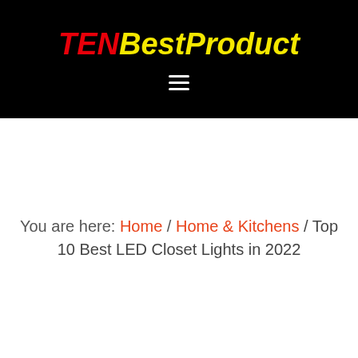TENBestProduct
You are here: Home / Home & Kitchens / Top 10 Best LED Closet Lights in 2022